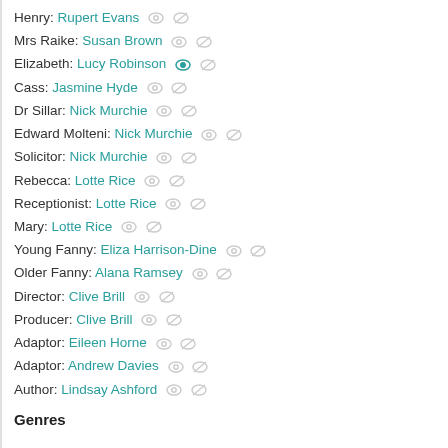Henry: Rupert Evans
Mrs Raike: Susan Brown
Elizabeth: Lucy Robinson
Cass: Jasmine Hyde
Dr Sillar: Nick Murchie
Edward Molteni: Nick Murchie
Solicitor: Nick Murchie
Rebecca: Lotte Rice
Receptionist: Lotte Rice
Mary: Lotte Rice
Young Fanny: Eliza Harrison-Dine
Older Fanny: Alana Ramsey
Director: Clive Brill
Producer: Clive Brill
Adaptor: Eileen Horne
Adaptor: Andrew Davies
Author: Lindsay Ashford
Genres